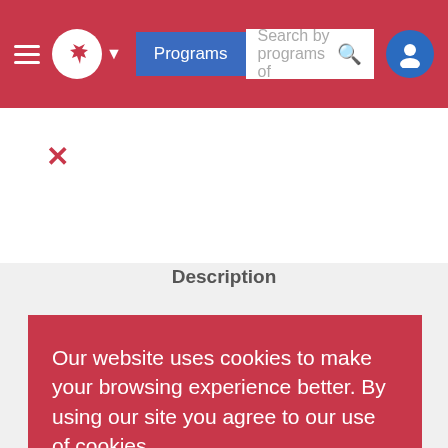[Figure (screenshot): Government of Canada website navigation bar with hamburger menu, maple leaf logo, Programs button, search bar, and user icon on red background]
×
Description
Our website uses cookies to make your browsing experience better. By using our site you agree to our use of cookies.
Note: We've updated our privacy policy.
View policy (PDF)
Close and don't show again
in the field.